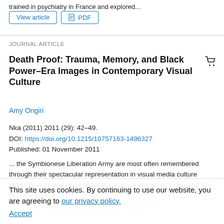trained in psychiatry in France and explored...
View article   PDF
JOURNAL ARTICLE
Death Proof: Trauma, Memory, and Black Power–Era Images in Contemporary Visual Culture
Amy Ongiri
Nka (2011) 2011 (29): 42–49.
DOI: https://doi.org/10.1215/10757163-1496327
Published: 01 November 2011
... the Symbionese Liberation Army are most often remembered through their spectacular representation in visual media culture rather than through their political actions or agendas. Video and film projects such as
Raymond Pettibon and David Markey's Citizen Tania (1965), Isaac Julien's Baltimore (2003), Sharon...
This site uses cookies. By continuing to use our website, you are agreeing to our privacy policy.
Accept